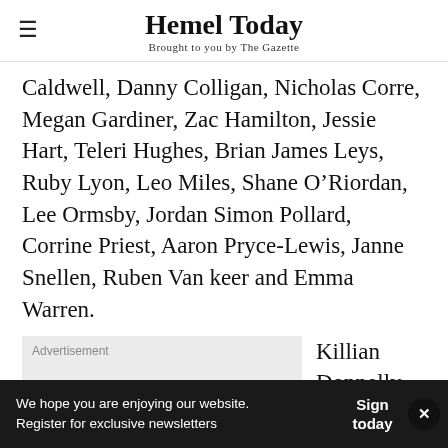Hemel Today — Brought to you by The Gazette
Caldwell, Danny Colligan, Nicholas Corre, Megan Gardiner, Zac Hamilton, Jessie Hart, Teleri Hughes, Brian James Leys, Ruby Lyon, Leo Miles, Shane O'Riordan, Lee Ormsby, Jordan Simon Pollard, Corrine Priest, Aaron Pryce-Lewis, Janne Snellen, Ruben Van keer and Emma Warren.
[Figure (other): Advertisement placeholder box with 'Advertisement' label]
Killian Donnelly recently
We hope you are enjoying our website. Register for exclusive newsletters Sign today ×